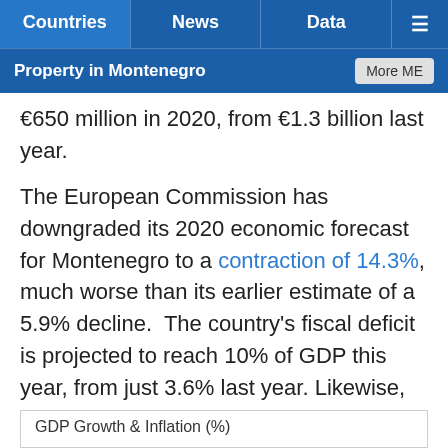Countries | News | Data | Menu
Property in Montenegro | More ME
€650 million in 2020, from €1.3 billion last year.
The European Commission has downgraded its 2020 economic forecast for Montenegro to a contraction of 14.3%, much worse than its earlier estimate of a 5.9% decline.  The country's fiscal deficit is projected to reach 10% of GDP this year, from just 3.6% last year. Likewise, the government's gross debt is also expected to increase to about 90% of GDP this year, from 76.5% of GDP in 2019.
GDP Growth & Inflation (%)